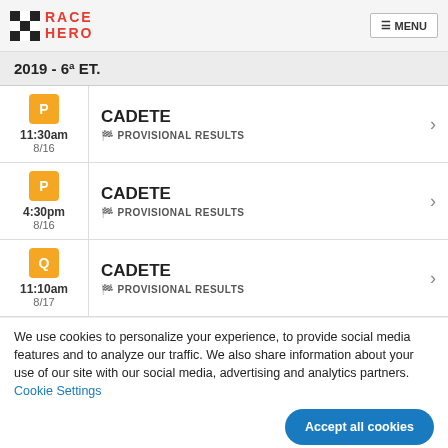RACE HERO — MENU
2019 - 6ª ET.
P 11:30am 8/16 CADETE PROVISIONAL RESULTS
P 4:30pm 8/16 CADETE PROVISIONAL RESULTS
Q 11:10am 8/17 CADETE PROVISIONAL RESULTS
We use cookies to personalize your experience, to provide social media features and to analyze our traffic. We also share information about your use of our site with our social media, advertising and analytics partners. Cookie Settings
Accept all cookies